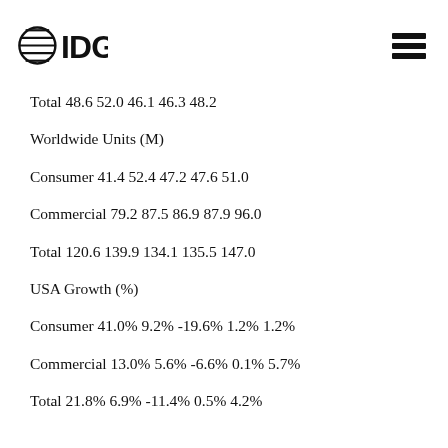[Figure (logo): IDG logo with globe/lines icon and IDG text]
Total 48.6 52.0 46.1 46.3 48.2
Worldwide Units (M)
Consumer 41.4 52.4 47.2 47.6 51.0
Commercial 79.2 87.5 86.9 87.9 96.0
Total 120.6 139.9 134.1 135.5 147.0
USA Growth (%)
Consumer 41.0% 9.2% -19.6% 1.2% 1.2%
Commercial 13.0% 5.6% -6.6% 0.1% 5.7%
Total 21.8% 6.9% -11.4% 0.5% 4.2%